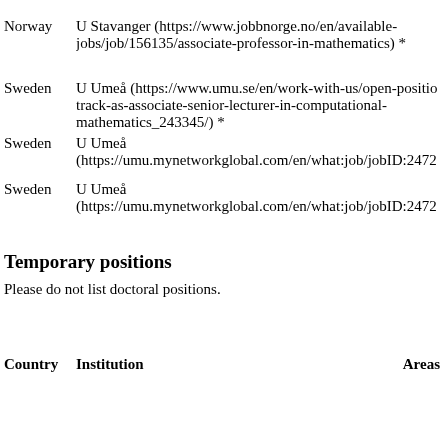Norway   U Stavanger (https://www.jobbnorge.no/en/available-jobs/job/156135/associate-professor-in-mathematics) *
Sweden   U Umeå (https://www.umu.se/en/work-with-us/open-positions/track-as-associate-senior-lecturer-in-computational-mathematics_243345/) *
Sweden   U Umeå (https://umu.mynetworkglobal.com/en/what:job/jobID:2472…)
Sweden   U Umeå (https://umu.mynetworkglobal.com/en/what:job/jobID:2472…)
Temporary positions
Please do not list doctoral positions.
| Country | Institution | Areas |
| --- | --- | --- |